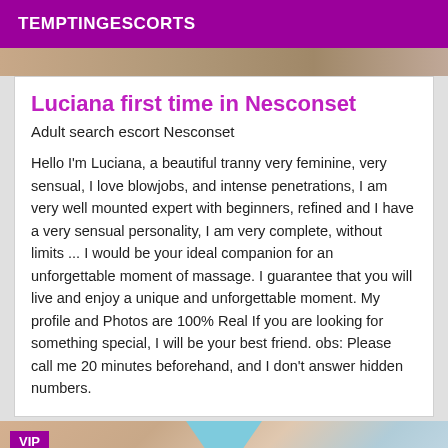TEMPTINGESCORTS
Luciana first time in Nesconset
Adult search escort Nesconset
Hello I'm Luciana, a beautiful tranny very feminine, very sensual, I love blowjobs, and intense penetrations, I am very well mounted expert with beginners, refined and I have a very sensual personality, I am very complete, without limits ... I would be your ideal companion for an unforgettable moment of massage. I guarantee that you will live and enjoy a unique and unforgettable moment. My profile and Photos are 100% Real If you are looking for something special, I will be your best friend. obs: Please call me 20 minutes beforehand, and I don't answer hidden numbers.
[Figure (photo): Partial photo at bottom with VIP badge and teal triangle shape visible]